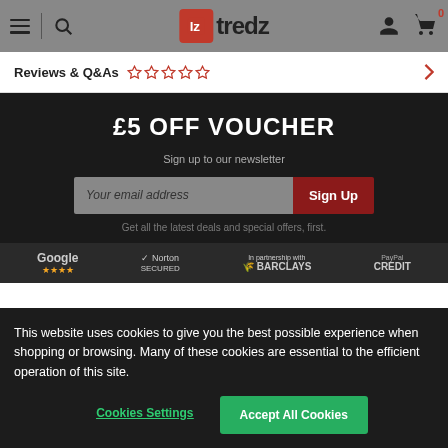[Figure (screenshot): Tredz website navigation bar with hamburger menu, search icon, Tredz logo, user icon, and cart icon with 0 badge]
Reviews & Q&As
£5 OFF VOUCHER
Sign up to our newsletter
Your email address
Sign Up
Get all the latest deals and special offers, first.
[Figure (logo): Trust logos: Google stars, Norton Secured, In partnership with Barclays, PayPal Credit]
This website uses cookies to give you the best possible experience when shopping or browsing. Many of these cookies are essential to the efficient operation of this site.
Cookies Settings
Accept All Cookies